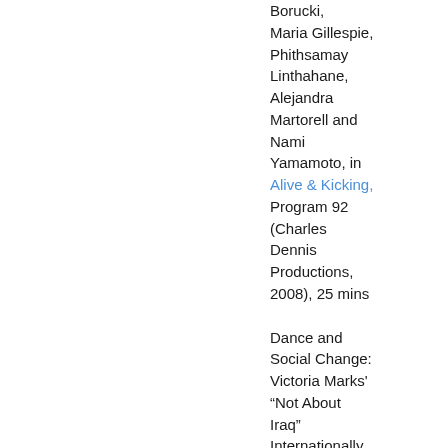Borucki, Maria Gillespie, Phithsamay Linthahane, Alejandra Martorell and Nami Yamamoto, in Alive & Kicking, Program 92 (Charles Dennis Productions, 2008), 25 mins
Dance and Social Change: Victoria Marks' “Not About Iraq” Internationally acclaimed choreographer